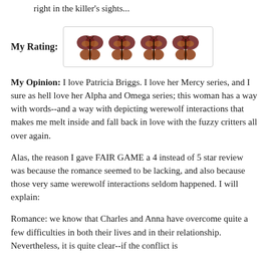And now Anna and Charles have put themselves right in the killer's sights...
[Figure (illustration): Four butterfly emoji icons displayed in a rounded rectangle box representing a 4-butterfly rating]
My Rating:
My Opinion: I love Patricia Briggs. I love her Mercy series, and I sure as hell love her Alpha and Omega series; this woman has a way with words--and a way with depicting werewolf interactions that makes me melt inside and fall back in love with the fuzzy critters all over again.
Alas, the reason I gave FAIR GAME a 4 instead of 5 star review was because the romance seemed to be lacking, and also because those very same werewolf interactions seldom happened. I will explain:
Romance: we know that Charles and Anna have overcome quite a few difficulties in both their lives and in their relationship. Nevertheless, it is quite clear--if the conflict is